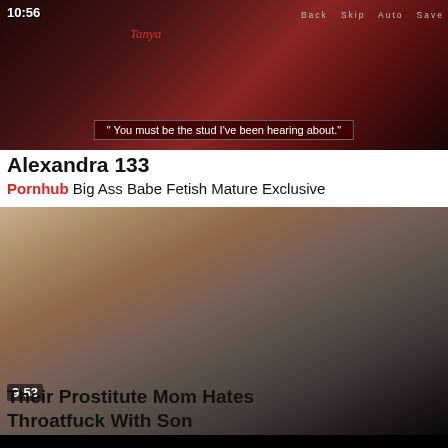[Figure (screenshot): Video thumbnail showing a visual novel/game scene with a dark-haired character, timestamp 10:56, dialog box at bottom, navigation buttons at top right]
Alexandra 133
Pornhub Big Ass Babe Fetish Mature Exclusive
[Figure (screenshot): Video thumbnail showing two people on a bed, timestamp 9:53]
Their Prostitute Mom Hates Throatfuck With Son
[Figure (screenshot): Video thumbnail partially visible at bottom of page, black bar overlay]